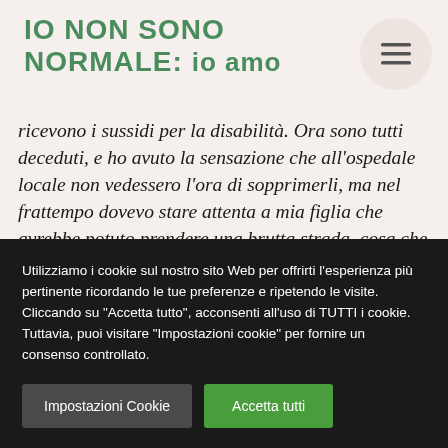IO NON SONO NORMALE: io amo
ricevono i sussidi per la disabilità. Ora sono tutti deceduti, e ho avuto la sensazione che all'ospedale locale non vedessero l'ora di sopprimerli, ma nel frattempo dovevo stare attenta a mia figlia che avrebbe potuto prendere una brutta strada, cosa che sembra accaduto, perchè ogni rara volta che la riesco a vedere di corsa, è super
Utilizziamo i cookie sul nostro sito Web per offrirti l'esperienza più pertinente ricordando le tue preferenze e ripetendo le visite. Cliccando su "Accetta tutto", acconsenti all'uso di TUTTI i cookie. Tuttavia, puoi visitare "Impostazioni cookie" per fornire un consenso controllato.
Impostazioni Cookie | Accetta tutti